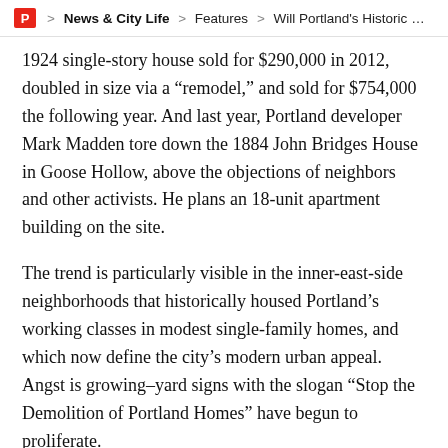P > News & City Life > Features > Will Portland's Historic Hous
1924 single-story house sold for $290,000 in 2012, doubled in size via a “remodel,” and sold for $754,000 the following year. And last year, Portland developer Mark Madden tore down the 1884 John Bridges House in Goose Hollow, above the objections of neighbors and other activists. He plans an 18-unit apartment building on the site.
The trend is particularly visible in the inner-east-side neighborhoods that historically housed Portland’s working classes in modest single-family homes, and which now define the city’s modern urban appeal. Angst is growing–yard signs with the slogan “Stop the Demolition of Portland Homes” have begun to proliferate.
Ken Forcier and his wife moved from the Bay Area to